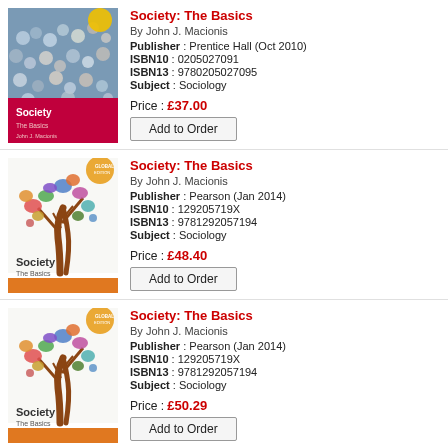[Figure (illustration): Book cover of 'Society: The Basics' showing a crowd of people, with red/pink band at bottom showing title. By John J. Macionis.]
Society: The Basics
By John J. Macionis
Publisher: Prentice Hall (Oct 2010)
ISBN10: 0205027091
ISBN13: 9780205027095
Subject: Sociology
Price: £37.00
Add to Order
[Figure (illustration): Book cover of 'Society: The Basics' Global Edition showing a tree with colorful people figures as leaves. Orange band at bottom. By John J. Macionis.]
Society: The Basics
By John J. Macionis
Publisher: Pearson (Jan 2014)
ISBN10: 129205719X
ISBN13: 9781292057194
Subject: Sociology
Price: £48.40
Add to Order
[Figure (illustration): Book cover of 'Society: The Basics' Global Edition showing a tree with colorful people figures as leaves. Orange band at bottom. By John J. Macionis.]
Society: The Basics
By John J. Macionis
Publisher: Pearson (Jan 2014)
ISBN10: 129205719X
ISBN13: 9781292057194
Subject: Sociology
Price: £50.29
Add to Order